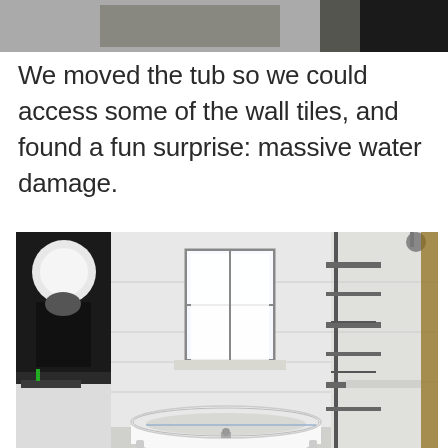[Figure (photo): Top portion of a photo visible at the top of the page, partially cropped.]
We moved the tub so we could access some of the wall tiles, and found a fun surprise: massive water damage.
[Figure (photo): Bathroom interior showing a freestanding bathtub moved away from the wall, white tiles, a window, a black and white poster on the left wall, and a shower caddy on the right. The tub is in the center-bottom of the frame.]